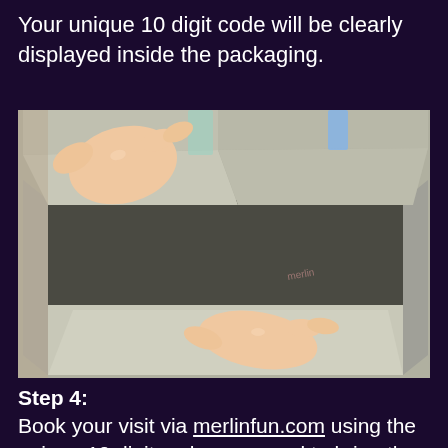Your unique 10 digit code will be clearly displayed inside the packaging.
[Figure (photo): A person's hands opening a grey cardboard box from the inside, showing the interior of the open packaging box.]
Step 4:
Book your visit via merlinfun.com using the unique 10 digit code – no need to bring the pack